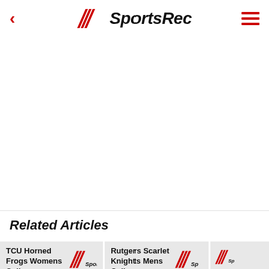SportsRec
Related Articles
TCU Horned Frogs Womens College
Rutgers Scarlet Knights Mens College
[Figure (logo): Partial SportsRec logo (third article card, cropped)]